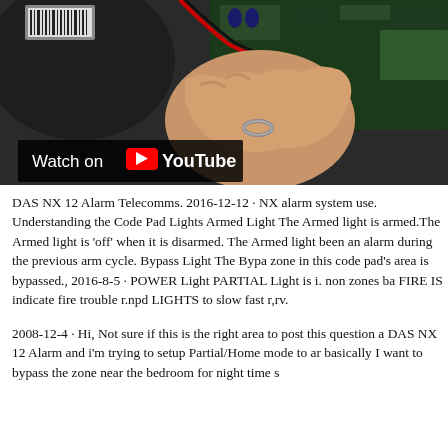[Figure (screenshot): A hand holding electronic components/circuit board on a dark surface, with a YouTube 'Watch on YouTube' overlay badge visible at the bottom left of the video thumbnail.]
DAS NX 12 Alarm Telecomms. 2016-12-12 · NX alarm system use. Understanding the Code Pad Lights Armed Light The Armed light is armed.The Armed light is 'off' when it is disarmed. The Armed light been an alarm during the previous arm cycle. Bypass Light The Bypa zone in this code pad's area is bypassed., 2016-8-5 · POWER Light PARTIAL Light is i. non zones ba FIRE IS indicate fire trouble r.npd LIGHTS to slow fast r,rv.
2008-12-4 · Hi, Not sure if this is the right area to post this question a DAS NX 12 Alarm and i'm trying to setup Partial/Home mode to ar basically I want to bypass the zone near the bedroom for night time s